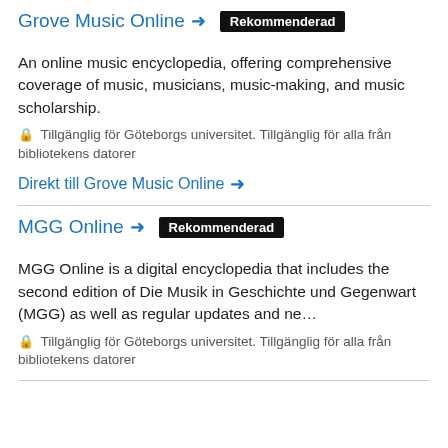Grove Music Online → Rekommenderad
An online music encyclopedia, offering comprehensive coverage of music, musicians, music-making, and music scholarship.
🔒 Tillgänglig för Göteborgs universitet. Tillgänglig för alla från bibliotekens datorer
Direkt till Grove Music Online →
MGG Online → Rekommenderad
MGG Online is a digital encyclopedia that includes the second edition of Die Musik in Geschichte und Gegenwart (MGG) as well as regular updates and ne...
🔒 Tillgänglig för Göteborgs universitet. Tillgänglig för alla från bibliotekens datorer